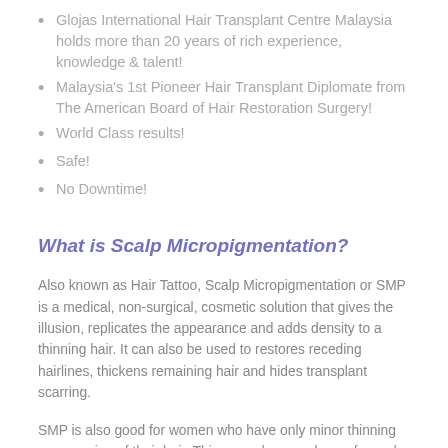Glojas International Hair Transplant Centre Malaysia holds more than 20 years of rich experience, knowledge & talent!
Malaysia's 1st Pioneer Hair Transplant Diplomate from The American Board of Hair Restoration Surgery!
World Class results!
Safe!
No Downtime!
What is Scalp Micropigmentation?
Also known as Hair Tattoo, Scalp Micropigmentation or SMP is a medical, non-surgical, cosmetic solution that gives the illusion, replicates the appearance and adds density to a thinning hair. It can also be used to restores receding hairlines, thickens remaining hair and hides transplant scarring.
SMP is also good for women who have only minor thinning or recession of their hair. This procedure can be performed on all skin types and colours. This affordable solution can also be used